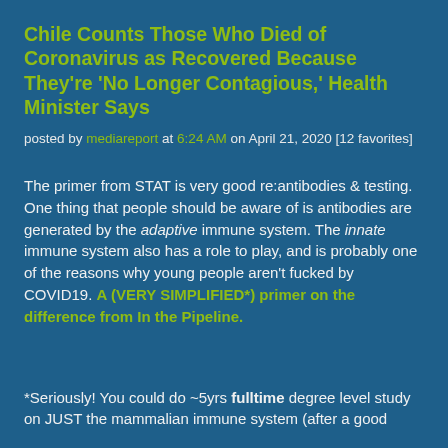Chile Counts Those Who Died of Coronavirus as Recovered Because They're 'No Longer Contagious,' Health Minister Says
posted by mediareport at 6:24 AM on April 21, 2020 [12 favorites]
The primer from STAT is very good re:antibodies & testing. One thing that people should be aware of is antibodies are generated by the adaptive immune system. The innate immune system also has a role to play, and is probably one of the reasons why young people aren't fucked by COVID19. A (VERY SIMPLIFIED*) primer on the difference from In the Pipeline.
*Seriously! You could do ~5yrs fulltime degree level study on JUST the mammalian immune system (after a good